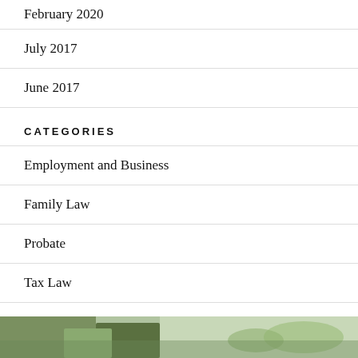February 2020
July 2017
June 2017
CATEGORIES
Employment and Business
Family Law
Probate
Tax Law
Uncategorized
[Figure (photo): Green plant or foliage image at the bottom of the page]